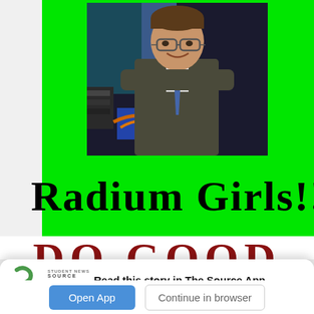[Figure (photo): Green poster featuring a man in a suit and tie smiling and looking upward, standing backstage with equipment visible. Below the photo, large black text on green background reads 'Radium Girls!!'. Below that, large dark red text begins 'DO GOOD']
Read this story in The Source App...
Open App
Continue in browser